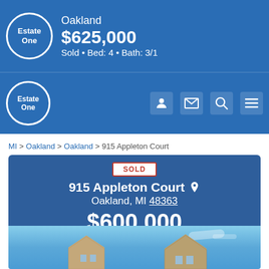Oakland $625,000 Sold • Bed: 4 • Bath: 3/1
[Figure (logo): Estate One real estate logo circle, white text on blue background]
MI > Oakland > Oakland > 915 Appleton Court
SOLD
915 Appleton Court
Oakland, MI 48363
$600,000
Calculate Payment
4 Bedrooms • 3 Full Bath • 1 Half Bath • 3,095 SqFt •
MLS# 2220032112
[Figure (photo): Exterior photo of house with blue sky background]